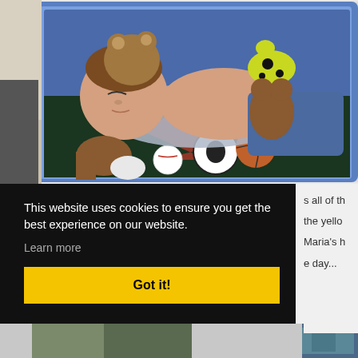[Figure (photo): A young child sleeping in a blue plastic toy bed/playpen, surrounded by stuffed animals including a teddy bear and a yellow-green spotted giraffe toy. The child is shirtless wearing jeans, lying on a sports-themed blanket with soccer ball, baseball, and basketball designs.]
This website uses cookies to ensure you get the best experience on our website. Learn more
Got it!
s all of th the yello Maria's h e day...
[Figure (photo): Partial thumbnail images visible at the bottom of the page]